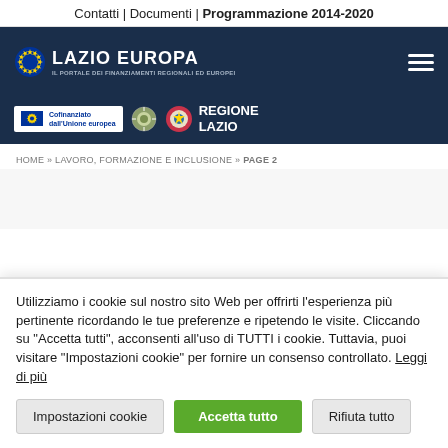Contatti | Documenti | Programmazione 2014-2020
[Figure (logo): Lazio Europa portal logo with EU stars, dark navy background, hamburger menu icon, co-financing logos including EU flag, Italian Republic seal, and Regione Lazio logo]
HOME » LAVORO, FORMAZIONE E INCLUSIONE » PAGE 2
Utilizziamo i cookie sul nostro sito Web per offrirti l'esperienza più pertinente ricordando le tue preferenze e ripetendo le visite. Cliccando su "Accetta tutti", acconsenti all'uso di TUTTI i cookie. Tuttavia, puoi visitare "Impostazioni cookie" per fornire un consenso controllato. Leggi di più
Impostazioni cookie | Accetta tutto | Rifiuta tutto